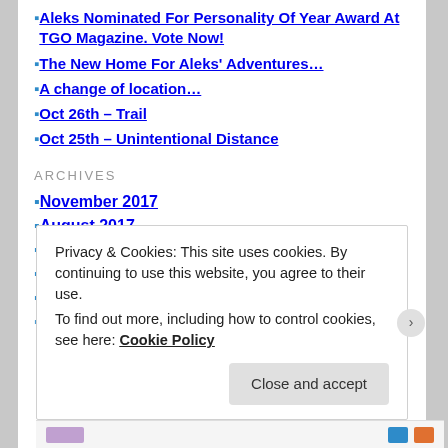Aleks Nominated For Personality Of Year Award At TGO Magazine. Vote Now!
The New Home For Aleks' Adventures…
A change of location…
Oct 26th – Trail
Oct 25th – Unintentional Distance
ARCHIVES
November 2017
August 2017
October 2016
September 2016
August 2016
July 2016
Privacy & Cookies: This site uses cookies. By continuing to use this website, you agree to their use.
To find out more, including how to control cookies, see here: Cookie Policy